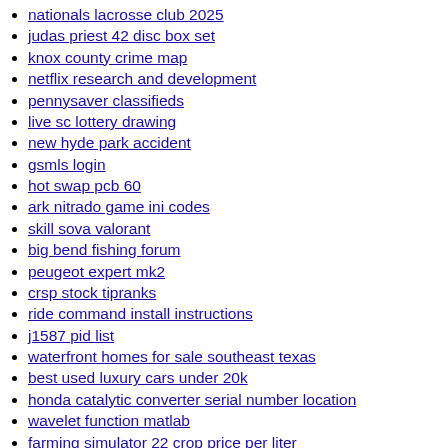nationals lacrosse club 2025
judas priest 42 disc box set
knox county crime map
netflix research and development
pennysaver classifieds
live sc lottery drawing
new hyde park accident
gsmls login
hot swap pcb 60
ark nitrado game ini codes
skill sova valorant
big bend fishing forum
peugeot expert mk2
crsp stock tipranks
ride command install instructions
j1587 pid list
waterfront homes for sale southeast texas
best used luxury cars under 20k
honda catalytic converter serial number location
wavelet function matlab
farming simulator 22 crop price per liter
cindy survivor 41
metra radio interface installation
methuen newspaper
my best friend told my husband i cheated